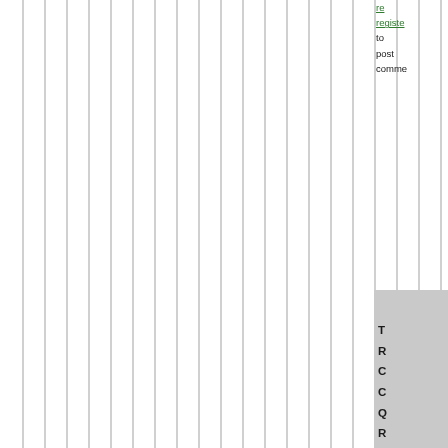or register to post comments
T R C C Q R
b
R /
J
2
ms 2